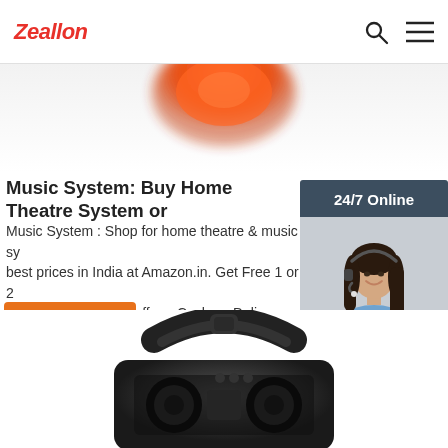Zeallon
[Figure (photo): Orange round speaker/alarm clock partially visible at the top of the page]
Music System: Buy Home Theatre System or
Music System : Shop for home theatre & music sy best prices in India at Amazon.in. Get Free 1 or 2 Amazon Prime, EMI offers, Cash on Delivery on eli
Get Price
[Figure (photo): Chat widget sidebar showing '24/7 Online' header, a woman wearing a headset smiling, 'Click here for free chat!' text, and a QUOTATION button]
[Figure (photo): Black portable speaker/audio device partially visible at the bottom of the page]